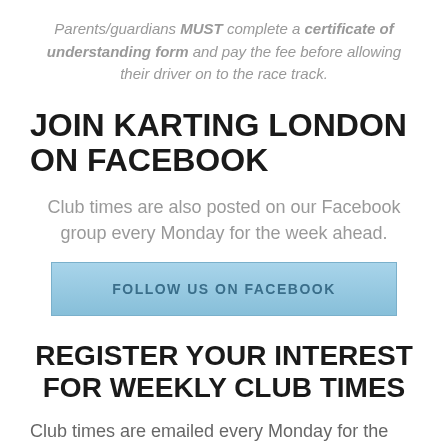Parents/guardians MUST complete a certificate of understanding form and pay the fee before allowing their driver on to the race track.
JOIN KARTING LONDON ON FACEBOOK
Club times are also posted on our Facebook group every Monday for the week ahead.
[Figure (other): Button: FOLLOW US ON FACEBOOK]
REGISTER YOUR INTEREST FOR WEEKLY CLUB TIMES
Club times are emailed every Monday for the week ahead.